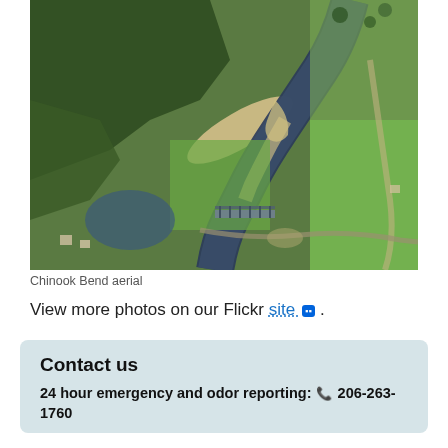[Figure (photo): Aerial photograph of Chinook Bend showing a river bend, green fields, forests, a bridge, and surrounding landscape from above.]
Chinook Bend aerial
View more photos on our Flickr site .
Contact us
24 hour emergency and odor reporting: 206-263-1760